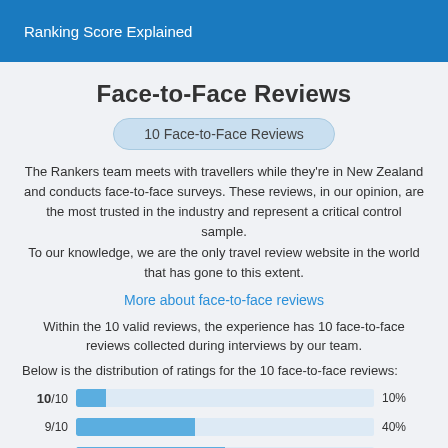Ranking Score Explained
Face-to-Face Reviews
10 Face-to-Face Reviews
The Rankers team meets with travellers while they're in New Zealand and conducts face-to-face surveys. These reviews, in our opinion, are the most trusted in the industry and represent a critical control sample. To our knowledge, we are the only travel review website in the world that has gone to this extent.
More about face-to-face reviews
Within the 10 valid reviews, the experience has 10 face-to-face reviews collected during interviews by our team.
Below is the distribution of ratings for the 10 face-to-face reviews:
[Figure (bar-chart): Distribution of ratings for face-to-face reviews]